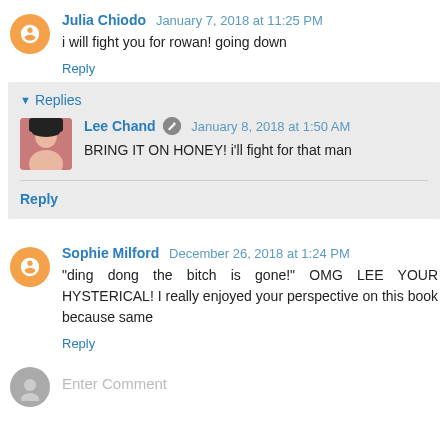Julia Chiodo  January 7, 2018 at 11:25 PM
i will fight you for rowan! going down
Reply
Replies
Lee Chand  January 8, 2018 at 1:50 AM
BRING IT ON HONEY! i'll fight for that man
Reply
Sophie Milford  December 26, 2018 at 1:24 PM
"ding dong the bitch is gone!" OMG LEE YOUR HYSTERICAL! I really enjoyed your perspective on this book because same
Reply
Enter Comment